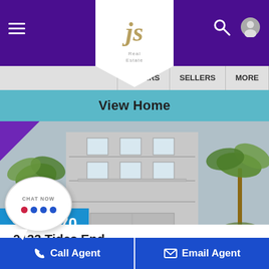[Figure (screenshot): Real estate website header with purple navigation bar, JS logo, hamburger menu, search and profile icons, and secondary nav with BUYERS, SELLERS, MORE links]
View Home
[Figure (photo): Exterior photo of a tall multi-story house with gray siding, balconies, two-car garage, palm trees on both sides, blue sky background. Price badge showing $714,570 in bottom left.]
2133 Tides End
2133 Tides End
leston , SC 29412
[Figure (other): Chat Now speech bubble with red and blue dots]
Call Agent
Email Agent